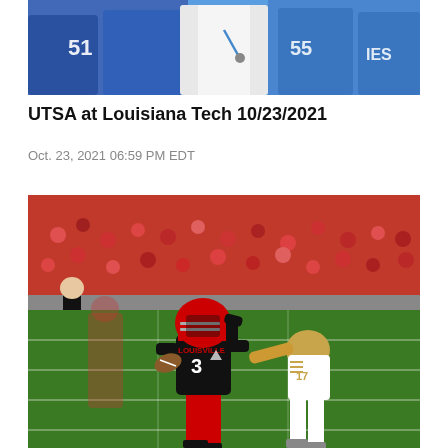[Figure (photo): Partial photo of a football game/event showing figures in blue and white uniforms, cropped at top]
UTSA at Louisiana Tech 10/23/2021
Oct. 23, 2021 06:59 PM EDT
[Figure (photo): Football game photo showing a Louisville player wearing number 3 in black and red uniform running with the ball, being chased by a defender in white/gold uniform on a green field with red-clad stands in background]